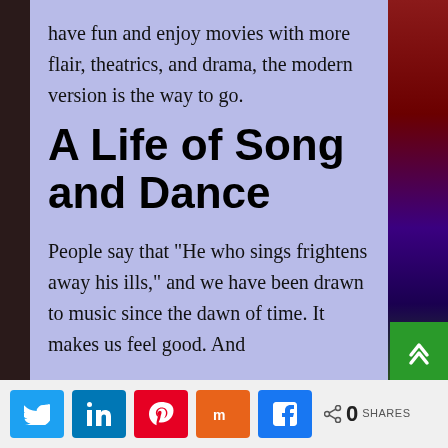have fun and enjoy movies with more flair, theatrics, and drama, the modern version is the way to go.
A Life of Song and Dance
People say that “He who sings frightens away his ills,” and we have been drawn to music since the dawn of time. It makes us feel good. And
[Figure (other): Social share bar with Twitter, LinkedIn, Pinterest, Mix, and Facebook buttons, plus a share count showing 0 SHARES]